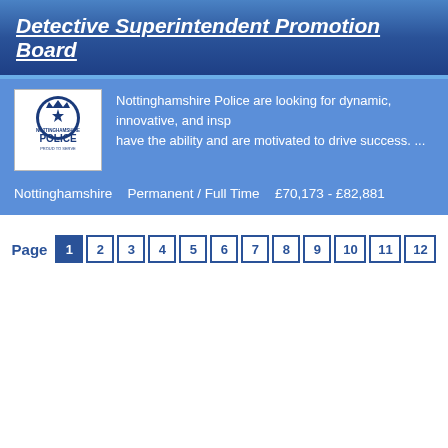Detective Superintendent Promotion Board
Nottinghamshire Police are looking for dynamic, innovative, and inspirational leaders who have the ability and are motivated to drive success. ...
Nottinghamshire   Permanent / Full Time   £70,173 - £82,881
Page 1 2 3 4 5 6 7 8 9 10 11 12